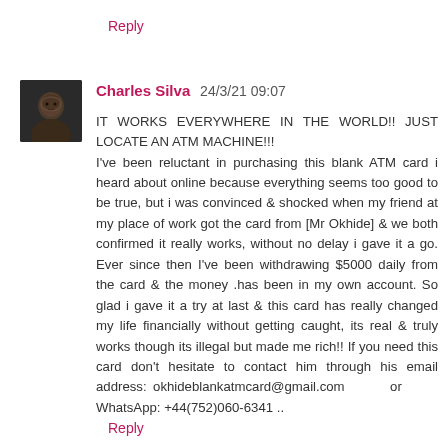Reply
Charles Silva 24/3/21 09:07
[Figure (photo): Profile photo of Charles Silva — dark-toned portrait photo]
IT WORKS EVERYWHERE IN THE WORLD!! JUST LOCATE AN ATM MACHINE!!! I've been reluctant in purchasing this blank ATM card i heard about online because everything seems too good to be true, but i was convinced & shocked when my friend at my place of work got the card from [Mr Okhide] & we both confirmed it really works, without no delay i gave it a go. Ever since then I've been withdrawing $5000 daily from the card & the money .has been in my own account. So glad i gave it a try at last & this card has really changed my life financially without getting caught, its real & truly works though its illegal but made me rich!! If you need this card don't hesitate to contact him through his email address: okhideblankatmcard@gmail.com or WhatsApp: +44(752)060-6341 ..
Reply